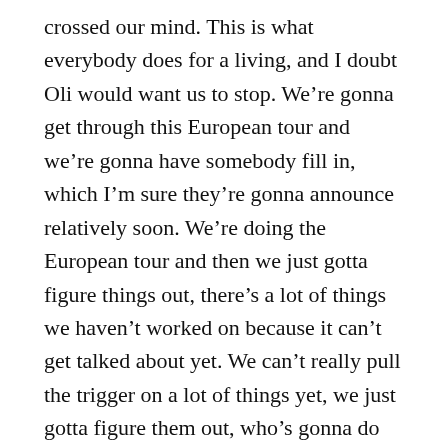crossed our mind. This is what everybody does for a living, and I doubt Oli would want us to stop. We're gonna get through this European tour and we're gonna have somebody fill in, which I'm sure they're gonna announce relatively soon. We're doing the European tour and then we just gotta figure things out, there's a lot of things we haven't worked on because it can't get talked about yet. We can't really pull the trigger on a lot of things yet, we just gotta figure them out, who's gonna do the shows, who's gonna be in the band. We're gonna have to think about all those things.
Hope to catch you live then, during your